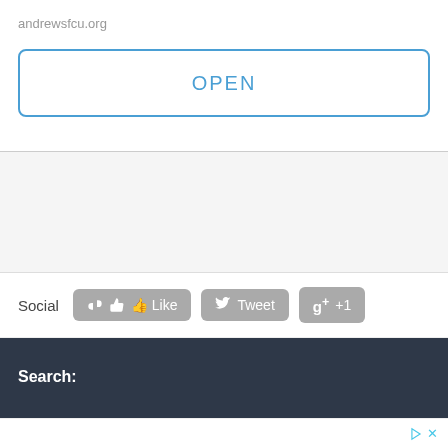andrewsfcu.org
OPEN
Social   Like   Tweet   +1
Search: